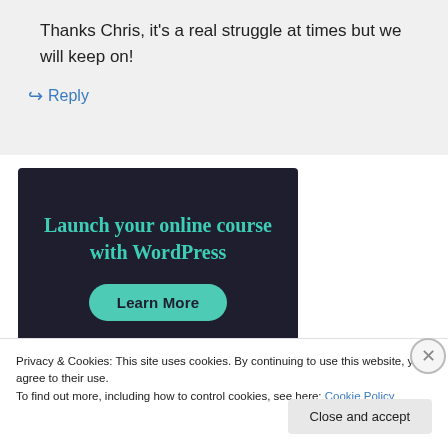Thanks Chris, it's a real struggle at times but we will keep on!
↪ Reply
[Figure (infographic): Dark navy advertisement banner with teal text reading 'Launch your online course with WordPress' and a teal rounded 'Learn More' button]
Privacy & Cookies: This site uses cookies. By continuing to use this website, you agree to their use. To find out more, including how to control cookies, see here: Cookie Policy